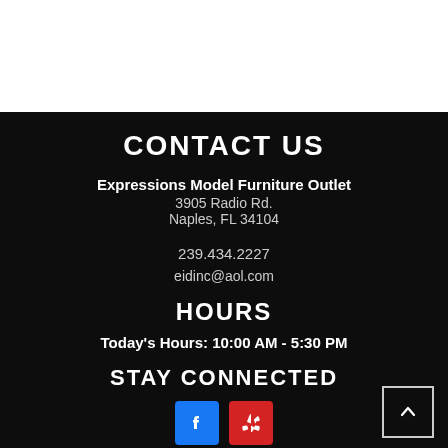CONTACT US
Expressions Model Furniture Outlet
3905 Radio Rd.
Naples, FL 34104
239.434.2227
eidinc@aol.com
HOURS
Today's Hours: 10:00 AM - 5:30 PM
STAY CONNECTED
[Figure (illustration): Facebook and Yelp social media icons]